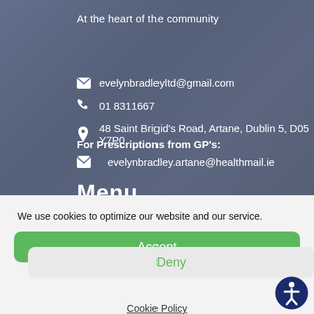At the heart of the community
evelynbradleyltd@gmail.com
01 8311667
48 Saint Brigid's Road, Artane, Dublin 5, D05 Y7P0
For Prescriptions from GP's:
evelynbradley.artane@healthmail.ie
Menu
We use cookies to optimize our website and our service.
Accept
Deny
Cookie Policy